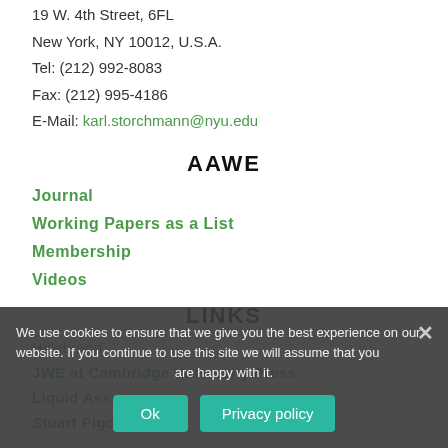New York University
19 W. 4th Street, 6FL
New York, NY 10012, U.S.A.
Tel: (212) 992-8083
Fax: (212) 995-4186
E-Mail: karl.storchmann@nyu.edu
AAWE
Journal
Working Papers as a List
Membership
Videos
LINKS
Hillebrand
JWE at Cambridge University Press
Liquid Assets
Stuart Pigott
We use cookies to ensure that we give you the best experience on our website. If you continue to use this site we will assume that you are happy with it.